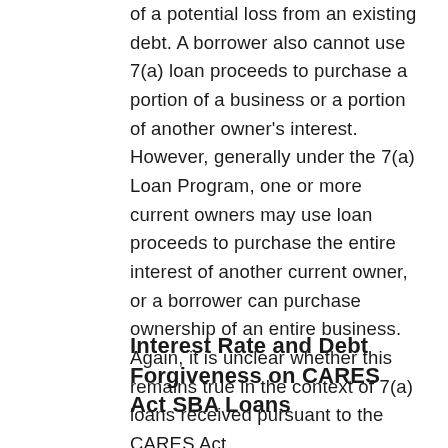of a potential loss from an existing debt. A borrower also cannot use 7(a) loan proceeds to purchase a portion of a business or a portion of another owner's interest. However, generally under the 7(a) Loan Program, one or more current owners may use loan proceeds to purchase the entire interest of another current owner, or a borrower can purchase ownership of an entire business. Again, it is unclear whether this remains true in the context of 7(a) loans received pursuant to the CARES Act.
Interest Rate and Debt Forgiveness on CARES Act SBA Loans